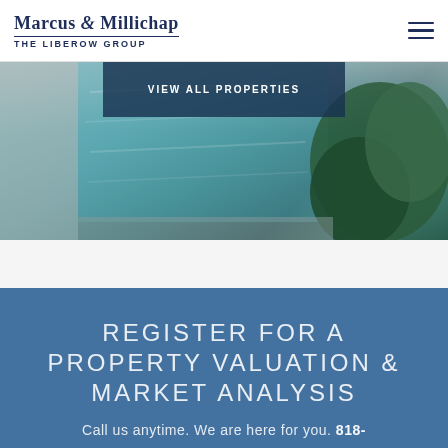Marcus & Millichap THE LIBEROW GROUP
[Figure (photo): Aerial/overhead view of a swimming pool and tropical landscape with teal water and green foliage]
VIEW ALL PROPERTIES
REGISTER FOR A PROPERTY VALUATION & MARKET ANALYSIS
Call us anytime. We are here for you. 818-